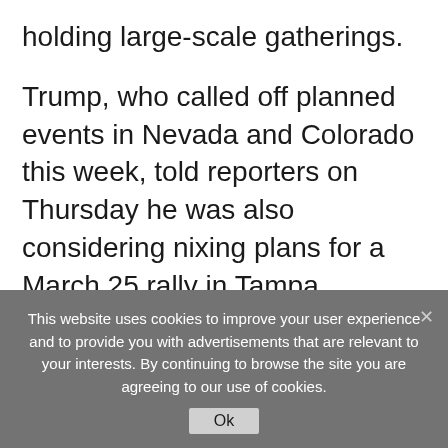holding large-scale gatherings.
Trump, who called off planned events in Nevada and Colorado this week, told reporters on Thursday he was also considering nixing plans for a March 25 rally in Tampa, Florida.
“I think we’ll probably not do it because people would say it’s better to not do,” he
This website uses cookies to improve your user experience and to provide you with advertisements that are relevant to your interests. By continuing to browse the site you are agreeing to our use of cookies.
Ok